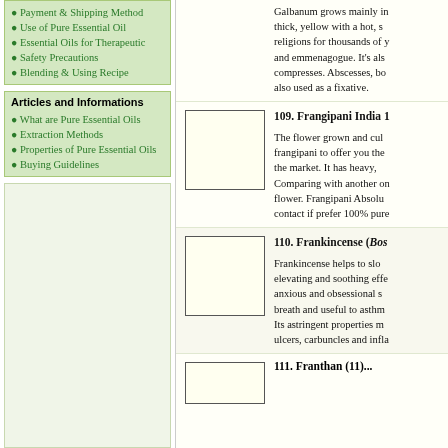Payment & Shipping Method
Use of Pure Essential Oil
Essential Oils for Therapeutic
Safety Precautions
Blending & Using Recipe
Articles and Informations
What are Pure Essential Oils
Extraction Methods
Properties of Pure Essential Oils
Buying Guidelines
Galbanum grows mainly in... thick, yellow with a hot, s... religions for thousands of y... and emmenagogue. It's als... compresses. Abscesses, bo... also used as a fixative.
109. Frangipani India 1
The flower grown and cul... frangipani to offer you the... the market. It has heavy,... Comparing with another on... flower. Frangipani Absolu... contact if prefer 100% pure...
110. Frankincense (Bos...
Frankincense helps to slo... elevating and soothing effe... anxious and obsessional s... breath and useful to asthm... Its astringent properties m... ulcers, carbuncles and infla...
111. Franthan (11)...